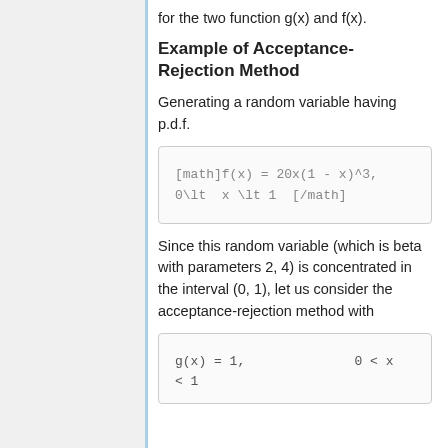for the two function g(x) and f(x).
Example of Acceptance-Rejection Method
Generating a random variable having p.d.f.
Since this random variable (which is beta with parameters 2, 4) is concentrated in the interval (0, 1), let us consider the acceptance-rejection method with